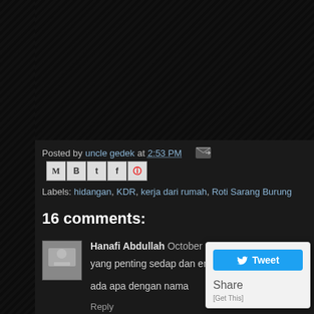Posted by uncle gedek at 2:53 PM
Labels: hidangan, KDR, kerja dari rumah, Roti Sarang Burung
16 comments:
Hanafi Abdullah October 26, 2020 at 6:17 PM
yang penting sedap dan enak dimakan tuan

ada apa dengan nama

Reply
Replies
uncle gedek ✏ October 27, 2020 at 6:06 PM
[Figure (screenshot): Tweet share popup widget with Tweet button and Share/Get This options]